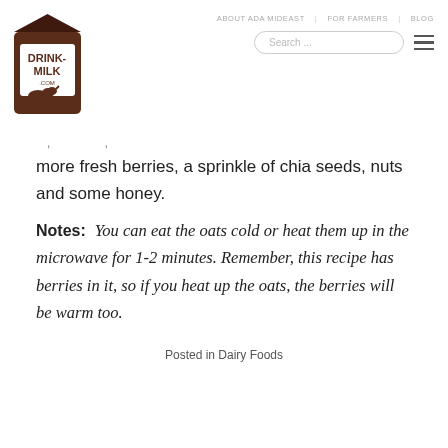ABOUT ADA MIDEAST  FOR FARMERS  BLOG  Search ...
[Figure (logo): DRINK-MILK.COM logo — brown milk carton with cow silhouette]
more fresh berries, a sprinkle of chia seeds, nuts and some honey.
Notes:  You can eat the oats cold or heat them up in the microwave for 1-2 minutes. Remember, this recipe has berries in it, so if you heat up the oats, the berries will be warm too.
Posted in Dairy Foods